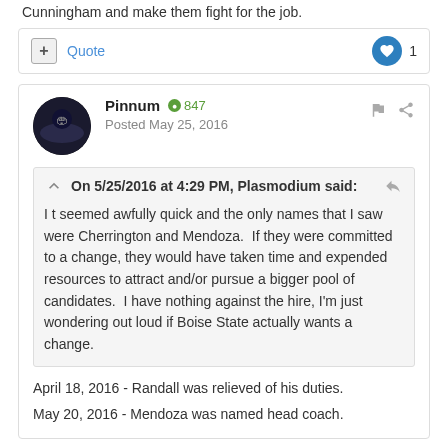Cunningham and make them fight for the job.
Quote | ♥ 1
Pinnum ● 847
Posted May 25, 2016
On 5/25/2016 at 4:29 PM, Plasmodium said:

I t seemed awfully quick and the only names that I saw were Cherrington and Mendoza.  If they were committed to a change, they would have taken time and expended resources to attract and/or pursue a bigger pool of candidates.  I have nothing against the hire, I'm just wondering out loud if Boise State actually wants a change.
April 18, 2016 - Randall was relieved of his duties.
May 20, 2016 - Mendoza was named head coach.